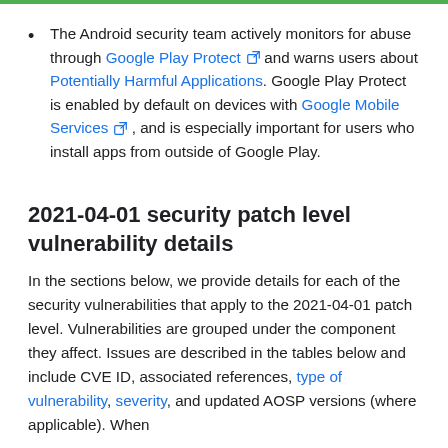The Android security team actively monitors for abuse through Google Play Protect and warns users about Potentially Harmful Applications. Google Play Protect is enabled by default on devices with Google Mobile Services, and is especially important for users who install apps from outside of Google Play.
2021-04-01 security patch level vulnerability details
In the sections below, we provide details for each of the security vulnerabilities that apply to the 2021-04-01 patch level. Vulnerabilities are grouped under the component they affect. Issues are described in the tables below and include CVE ID, associated references, type of vulnerability, severity, and updated AOSP versions (where applicable). When